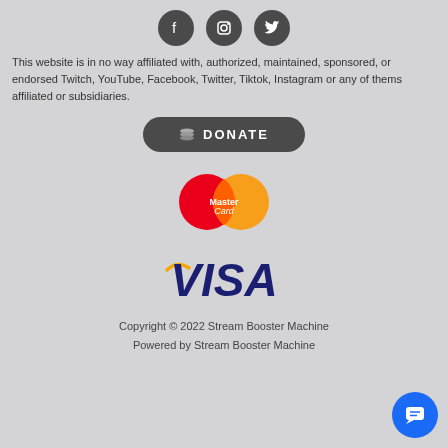[Figure (logo): Three social media icons: Facebook, Instagram, Twitter — dark circular buttons]
This website is in no way affiliated with, authorized, maintained, sponsored, or endorsed Twitch, YouTube, Facebook, Twitter, Tiktok, Instagram or any of thems affiliated or subsidiaries.
[Figure (other): Donate button with coin icon and text DONATE]
[Figure (logo): MasterCard logo — two overlapping circles red and orange with MasterCard text]
[Figure (logo): VISA logo in blue bold italic letters with orange checkmark accent]
Copyright © 2022 Stream Booster Machine
Powered by Stream Booster Machine